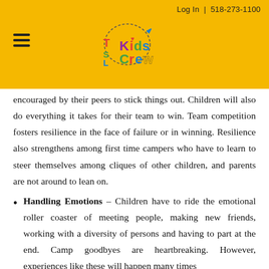Log In | 518-273-1100
[Figure (logo): TSL Kids Crew logo with colorful letters on yellow background]
encouraged by their peers to stick things out. Children will also do everything it takes for their team to win. Team competition fosters resilience in the face of failure or in winning. Resilience also strengthens among first time campers who have to learn to steer themselves among cliques of other children, and parents are not around to lean on.
Handling Emotions – Children have to ride the emotional roller coaster of meeting people, making new friends, working with a diversity of persons and having to part at the end. Camp goodbyes are heartbreaking. However, experiences like these will happen many times